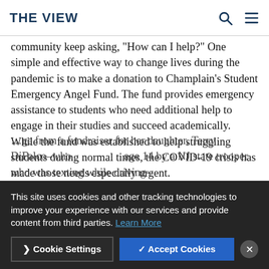THE VIEW
community keep asking, “How can I help?” One simple and effective way to change lives during the pandemic is to make a donation to Champlain’s Student Emergency Angel Fund. The fund provides emergency assistance to students who need additional help to engage in their studies and succeed academically. While the fund was established to help struggling students during normal times, the COVID-19 crisis has made those needs especially urgent.
This site uses cookies and other tracking technologies to improve your experience with our services and provide content from third parties. Learn More
…ge from a fundraiser for her daughter, Terry DiFalco–who…age 14 by a NJ state trooper who was texting while driving–